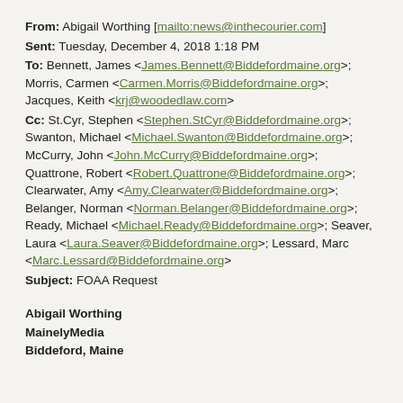From: Abigail Worthing [mailto:news@inthecourier.com]
Sent: Tuesday, December 4, 2018 1:18 PM
To: Bennett, James <James.Bennett@Biddefordmaine.org>; Morris, Carmen <Carmen.Morris@Biddefordmaine.org>; Jacques, Keith <krj@woodedlaw.com>
Cc: St.Cyr, Stephen <Stephen.StCyr@Biddefordmaine.org>; Swanton, Michael <Michael.Swanton@Biddefordmaine.org>; McCurry, John <John.McCurry@Biddefordmaine.org>; Quattrone, Robert <Robert.Quattrone@Biddefordmaine.org>; Clearwater, Amy <Amy.Clearwater@Biddefordmaine.org>; Belanger, Norman <Norman.Belanger@Biddefordmaine.org>; Ready, Michael <Michael.Ready@Biddefordmaine.org>; Seaver, Laura <Laura.Seaver@Biddefordmaine.org>; Lessard, Marc <Marc.Lessard@Biddefordmaine.org>
Subject: FOAA Request
Abigail Worthing
MainelyMedia
Biddeford, Maine